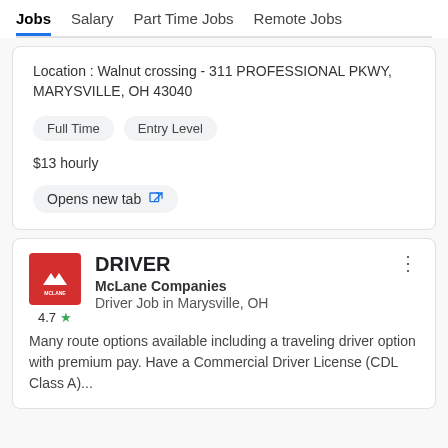Jobs  Salary  Part Time Jobs  Remote Jobs
Location : Walnut crossing - 311 PROFESSIONAL PKWY, MARYSVILLE, OH 43040
Full Time  Entry Level
$13 hourly
Opens new tab
DRIVER
McLane Companies
Driver Job in Marysville, OH
4.7
Many route options available including a traveling driver option with premium pay. Have a Commercial Driver License (CDL Class A)...